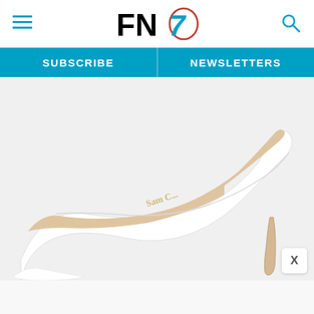FN7 — Footwear News header with hamburger menu and search icon
SUBSCRIBE
NEWSLETTERS
[Figure (photo): White pointed-toe stiletto heel pump (Sam Edelman) on white/light background, heel is nude/tan color. The insole has a gold cursive Sam Edelman logo. A close button (X) appears in the bottom-right corner of the image.]